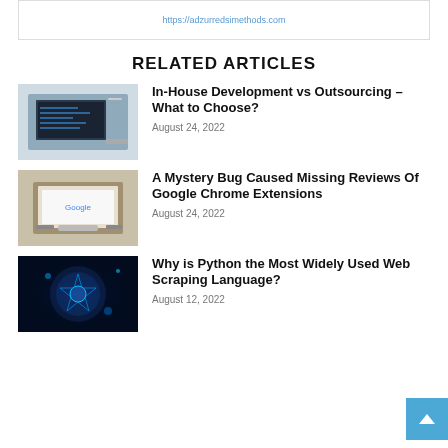https://adzurredsimethods.com
RELATED ARTICLES
[Figure (photo): Laptop with code on screen on a desk]
In-House Development vs Outsourcing – What to Choose?
August 24, 2022
[Figure (photo): Laptop with Google on screen on a desk]
A Mystery Bug Caused Missing Reviews Of Google Chrome Extensions
August 24, 2022
[Figure (photo): Abstract blue digital technology background]
Why is Python the Most Widely Used Web Scraping Language?
August 12, 2022